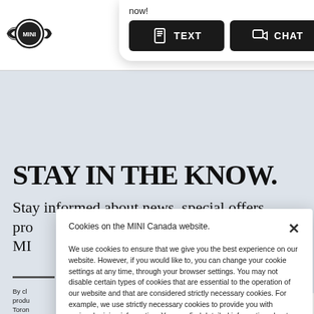[Figure (logo): MINI Cooper winged logo in black and white circle]
[Figure (screenshot): Popup bubble with 'now!' text and two dark buttons: TEXT (with phone icon) and CHAT (with chat icon)]
[Figure (other): Location pin icon and hamburger menu icon in top right nav]
STAY IN THE KNOW.
Stay informed about news, special offers, pro... MI...
By cl... other produ... Road, Toron... or on... Richmond... 1-866... conse... Cana...
[Figure (screenshot): Cookie consent modal overlay: 'Cookies on the MINI Canada website.' with close X button and body text about cookie usage policy]
Cookies on the MINI Canada website.
We use cookies to ensure that we give you the best experience on our website. However, if you would like to, you can change your cookie settings at any time, through your browser settings. You may not disable certain types of cookies that are essential to the operation of our website and that are considered strictly necessary cookies. For example, we use strictly necessary cookies to provide you with regional pricing information. You can find detailed information about how cookies are used on this website by clicking here.